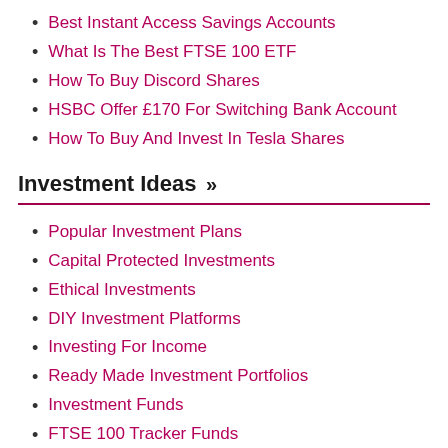Best Instant Access Savings Accounts
What Is The Best FTSE 100 ETF
How To Buy Discord Shares
HSBC Offer £170 For Switching Bank Account
How To Buy And Invest In Tesla Shares
Investment Ideas »
Popular Investment Plans
Capital Protected Investments
Ethical Investments
DIY Investment Platforms
Investing For Income
Ready Made Investment Portfolios
Investment Funds
FTSE 100 Tracker Funds
Technology Funds